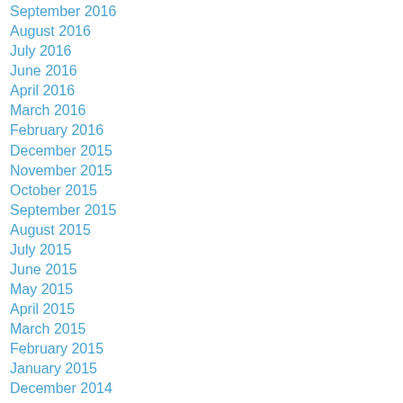September 2016
August 2016
July 2016
June 2016
April 2016
March 2016
February 2016
December 2015
November 2015
October 2015
September 2015
August 2015
July 2015
June 2015
May 2015
April 2015
March 2015
February 2015
January 2015
December 2014
November 2014